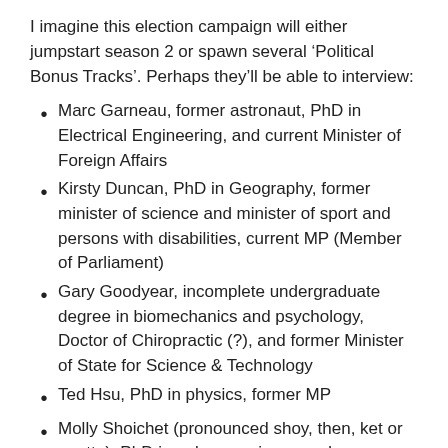I imagine this election campaign will either jumpstart season 2 or spawn several ‘Political Bonus Tracks’. Perhaps they’ll be able to interview:
Marc Garneau, former astronaut, PhD in Electrical Engineering, and current Minister of Foreign Affairs
Kirsty Duncan, PhD in Geography, former minister of science and minister of sport and persons with disabilities, current MP (Member of Parliament)
Gary Goodyear, incomplete undergraduate degree in biomechanics and psychology, Doctor of Chiropractic (?), and former Minister of State for Science & Technology
Ted Hsu, PhD in physics, former MP
Molly Shoichet (pronounced shoy, then, ket or quette), PhD in polymer science and engineering, biomedical engineer, briefly, Chief Scientist for Ontario (it’s first)
Pascal Lapointe, science journalist, editor-in-chief of Agence Science-Presse (Québec’s Science Press